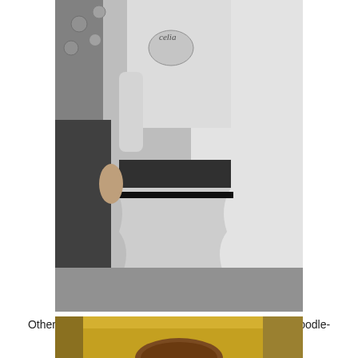[Figure (photo): Black and white photograph showing a child in a tutu-style dress with black trim, white top with decorative detail, held by adults. The image is cropped showing mostly the child's torso and dress.]
Other gifts she loved included this sequined, sparkle, poodle-shaped purse.
(I told you this kid's got style.)
[Figure (photo): Partial color photograph showing a child with brown hair visible at the bottom of the page, with a golden/yellow sofa or chair visible in the background.]